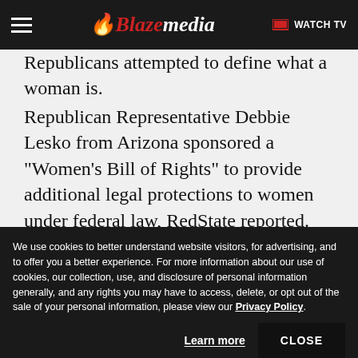Blaze media | WATCH TV
Republican Congressmen attempted to define what a woman is.
Republican Representative Debbie Lesko from Arizona sponsored a “Women’s Bill of Rights” to provide additional legal protections to women under federal law, RedState reported.
Noting that establishing a standard for identifying people on the basis of their sex is crucial to
We use cookies to better understand website visitors, for advertising, and to offer you a better experience. For more information about our use of cookies, our collection, use, and disclosure of personal information generally, and any rights you may have to access, delete, or opt out of the sale of your personal information, please view our Privacy Policy.
Learn more | CLOSE